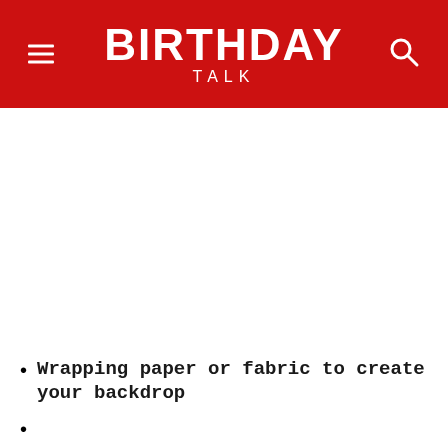BIRTHDAY TALK
Wrapping paper or fabric to create your backdrop